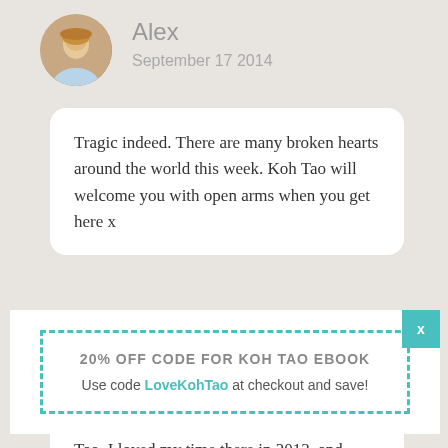[Figure (photo): Circular avatar photo of a blonde woman named Alex]
Alex
September 17 2014
Tragic indeed. There are many broken hearts around the world this week. Koh Tao will welcome you with open arms when you get here x
20% OFF CODE FOR KOH TAO EBOOK
Use code LoveKohTao at checkout and save!
I was devastated to hear of this, particularly for the impact it will have on tourism to Koh Tao. I loved my time there in 2013, and